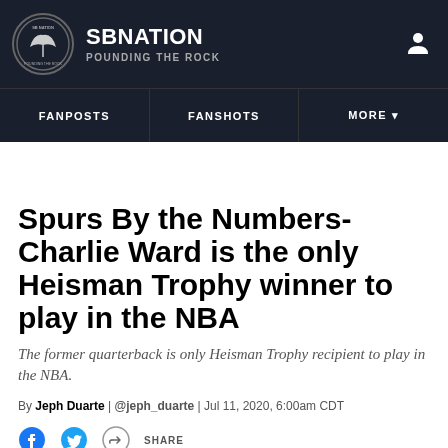SBNATION POUNDING THE ROCK
FANPOSTS | FANSHOTS | MORE
Spurs By the Numbers- Charlie Ward is the only Heisman Trophy winner to play in the NBA
The former quarterback is only Heisman Trophy recipient to play in the NBA.
By Jeph Duarte | @jeph_duarte | Jul 11, 2020, 6:00am CDT